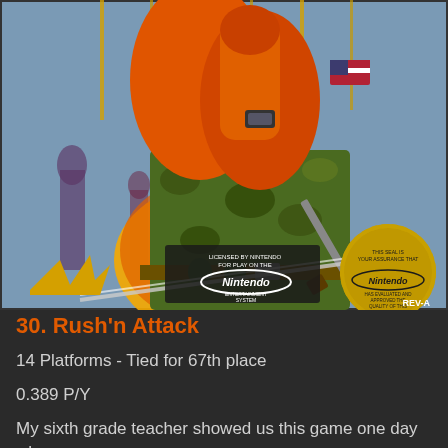[Figure (photo): NES game cartridge box art for Rush'n Attack showing a soldier in camouflage and orange outfit holding a knife, with Nintendo Entertainment System licensing seal and gold Nintendo quality seal, REV-A marking in bottom right]
30. Rush'n Attack
14 Platforms - Tied for 67th place
0.389 P/Y
My sixth grade teacher showed us this game one day when we